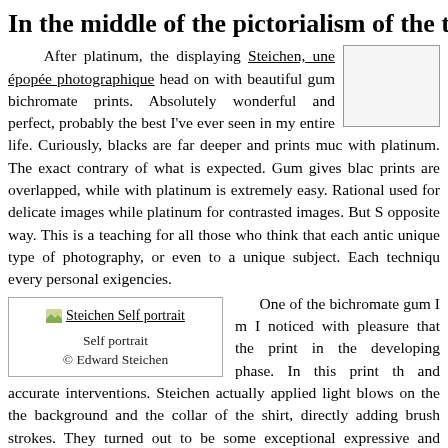In the middle of the pictorialism of the turn of
After platinum, the displaying Steichen, une épopée photographique head on with beautiful gum bichromate prints. Absolutely wonderful and perfect, probably the best I've ever seen in my entire life. Curiously, blacks are far deeper and prints much with platinum. The exact contrary of what is expected. Gum gives blacks prints are overlapped, while with platinum is extremely easy. Rationally used for delicate images while platinum for contrasted images. But S opposite way. This is a teaching for all those who think that each antique unique type of photography, or even to a unique subject. Each technique every personal exigencies.
[Figure (photo): Steichen Self portrait placeholder image thumbnail with caption: Self portrait © Edward Steichen]
One of the bichromate gum I noticed with pleasure that the print in the developing phase. In this print and accurate interventions. Steichen actually applied light blows on the background and the collar of the shirt, directly adding brush strokes. They turned out to be some exceptional expressive and technical interventions for those who go on a crusade against digital, sustaining that digital because interventions twist their nature turning pictures into non-photographs should at list stop pretending not to know photography history. Interventions